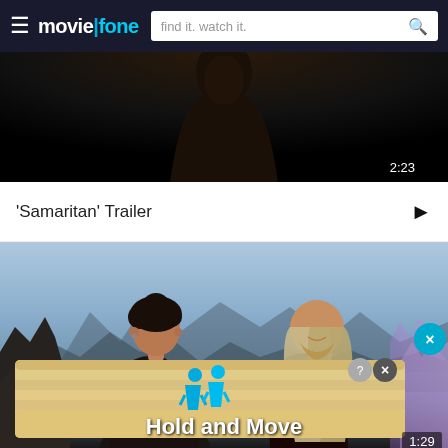moviefone — find it. watch it.
[Figure (screenshot): Dark video thumbnail showing a silhouette of a person's shoulders from behind, against a very dark background. Timestamp 2:23 shown in lower right.]
'Samaritan' Trailer
[Figure (screenshot): Video still from a movie showing two men facing each other — one with curly dark hair on the left, and one with long blond hair (Thor-like character) on the right, set against a fantasy mountain/crystal landscape. An advertisement overlay reads 'Hold and Move' with two blue human figures. A blue X close button appears on the right. Timestamp 1:29 shown in lower right.]